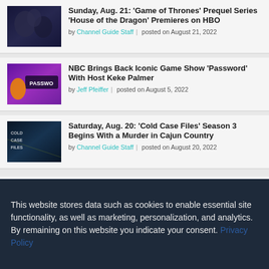[Figure (photo): Thumbnail image for Game of Thrones prequel article - dark fantasy scene]
Sunday, Aug. 21: 'Game of Thrones' Prequel Series 'House of the Dragon' Premieres on HBO
by Channel Guide Staff | posted on August 21, 2022
[Figure (photo): Thumbnail image for Password game show article - Keke Palmer with purple background]
NBC Brings Back Iconic Game Show 'Password' With Host Keke Palmer
by Jeff Pfeiffer | posted on August 5, 2022
[Figure (photo): Thumbnail image for Cold Case Files article - dark crime scene imagery]
Saturday, Aug. 20: 'Cold Case Files' Season 3 Begins With a Murder in Cajun Country
by Channel Guide Staff | posted on August 20, 2022
[Figure (photo): Partial thumbnail of a fourth article item, partially visible]
This website stores data such as cookies to enable essential site functionality, as well as marketing, personalization, and analytics. By remaining on this website you indicate your consent. Privacy Policy